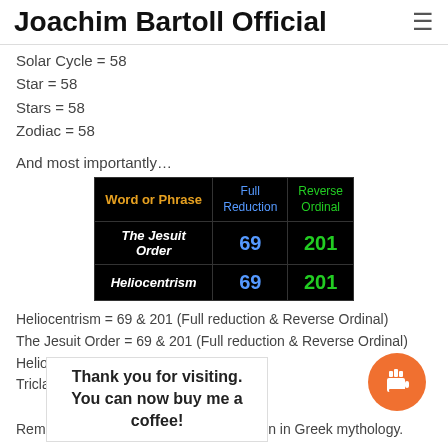Joachim Bartoll Official
Solar Cycle = 58
Star = 58
Stars = 58
Zodiac = 58
And most importantly…
[Figure (table-as-image): Gematria table showing Word or Phrase, Full Reduction, Reverse Ordinal columns. Rows: The Jesuit Order = 69 / 201; Heliocentrism = 69 / 201]
Heliocentrism = 69 & 201 (Full reduction & Reverse Ordinal)
The Jesuit Order = 69 & 201 (Full reduction & Reverse Ordinal)
Heliocentrism … Triclaviani…
Remember, Helios was the god of the sun in Greek mythology.